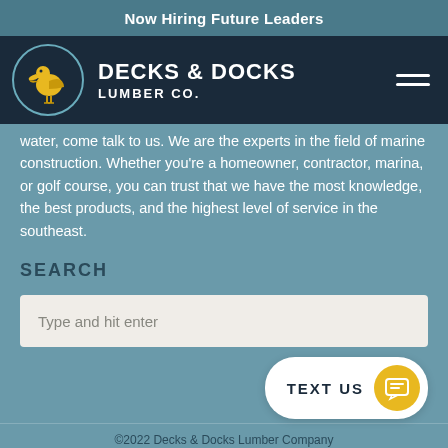Now Hiring Future Leaders
[Figure (logo): Decks & Docks Lumber Co. logo with yellow pelican in a circle on dark navy background, with hamburger menu icon]
water, come talk to us. We are the experts in the field of marine construction. Whether you're a homeowner, contractor, marina, or golf course, you can trust that we have the most knowledge, the best products, and the highest level of service in the southeast.
SEARCH
Type and hit enter
TEXT US
©2022 Decks & Docks Lumber Company